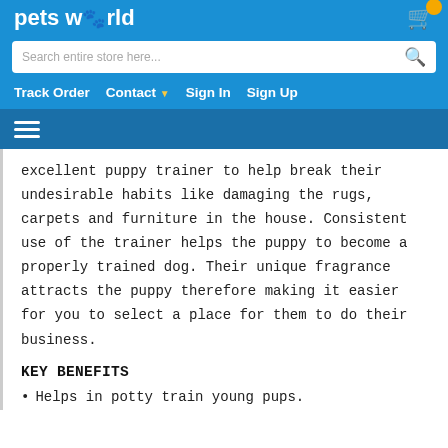petsworld
[Figure (screenshot): Search bar with placeholder text 'Search entire store here...' and a blue search icon]
Track Order  Contact  Sign In  Sign Up
[Figure (other): Hamburger menu icon (three white horizontal lines on dark blue background)]
excellent puppy trainer to help break their undesirable habits like damaging the rugs, carpets and furniture in the house. Consistent use of the trainer helps the puppy to become a properly trained dog. Their unique fragrance attracts the puppy therefore making it easier for you to select a place for them to do their business.
KEY BENEFITS
Helps in potty train young pups.